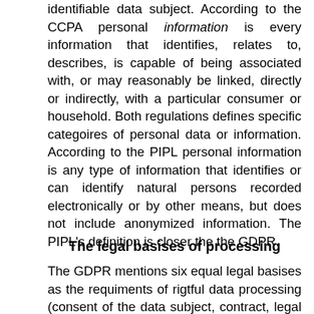identifiable data subject. According to the CCPA personal information is every information that identifies, relates to, describes, is capable of being associated with, or may reasonably be linked, directly or indirectly, with a particular consumer or household. Both regulations defines specific categoires of personal data or information. According to the PIPL personal information is any type of information that identifies or can identify natural persons recorded electronically or by other means, but does not include anonymized information. The PIPL's definition is closer the the GDPR.
The legal basises of processing
The GDPR mentions six equal legal basises as the requiments of rigtful data processing (consent of the data subject, contract, legal obligation, protection of vital interests, public interest and legitimate interest).